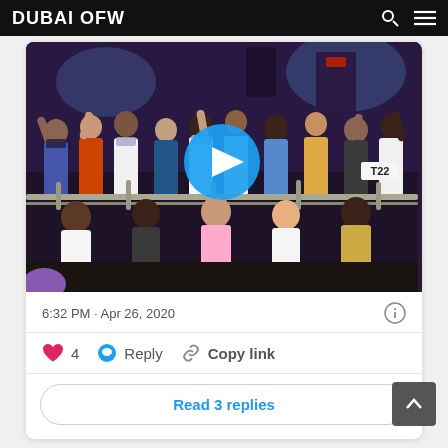DUBAI OFW
[Figure (screenshot): Video thumbnail showing a crowd of people at night behind metal barriers, with a blue play button overlay. A label 'T22' is visible in the upper right area of the video.]
6:32 PM · Apr 26, 2020
♥ 4   Reply   Copy link
Read 3 replies